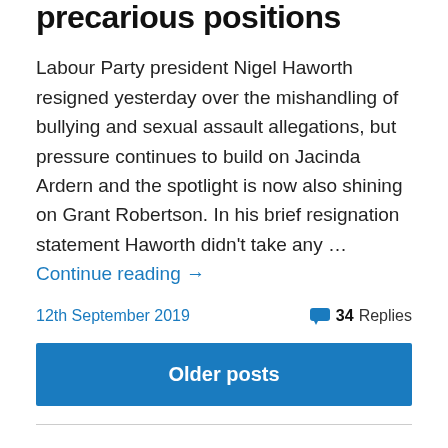precarious positions
Labour Party president Nigel Haworth resigned yesterday over the mishandling of bullying and sexual assault allegations, but pressure continues to build on Jacinda Ardern and the spotlight is now also shining on Grant Robertson. In his brief resignation statement Haworth didn't take any … Continue reading →
12th September 2019
34 Replies
Older posts
Posts
Moving on
Big election night win for Labour
Open Forum Sunday